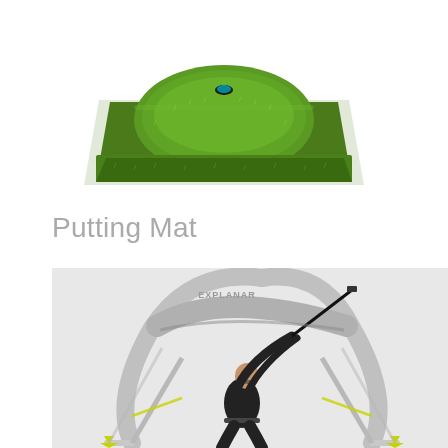[Figure (photo): A green artificial turf putting mat with a raised oval hill shape and a golf hole cup with a blue ring at the top center, photographed on a white background.]
Putting Mat
[Figure (photo): A person dressed in black swinging a golf club inside a large grey arc-shaped swing training device labeled EXPLANAR. The device has two angled support legs with yellow feet on a light grey background.]